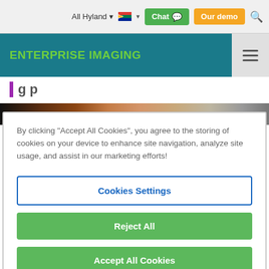All Hyland  [ZA flag]  Chat  Our demo  [search]
ENTERPRISE IMAGING
[Figure (screenshot): Partial cropped website page with purple-bordered heading text and food image strip]
By clicking "Accept All Cookies", you agree to the storing of cookies on your device to enhance site navigation, analyze site usage, and assist in our marketing efforts!
Cookies Settings
Reject All
Accept All Cookies